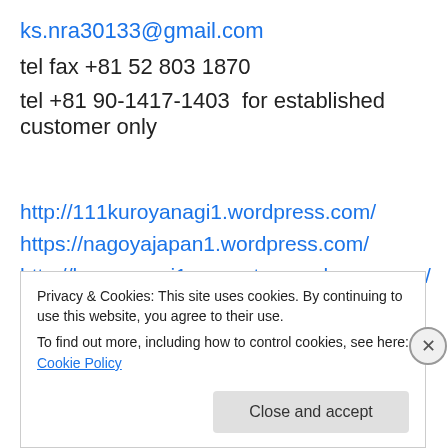ks.nra30133@gmail.com
tel fax +81 52 803 1870
tel +81 90-1417-1403  for established customer only
http://111kuroyanagi1.wordpress.com/
https://nagoyajapan1.wordpress.com/
http://kuroyanagi1excavator.wordpress.com/
http://kuroyanagi1000.wordpress.com/
Privacy & Cookies: This site uses cookies. By continuing to use this website, you agree to their use. To find out more, including how to control cookies, see here: Cookie Policy
Close and accept